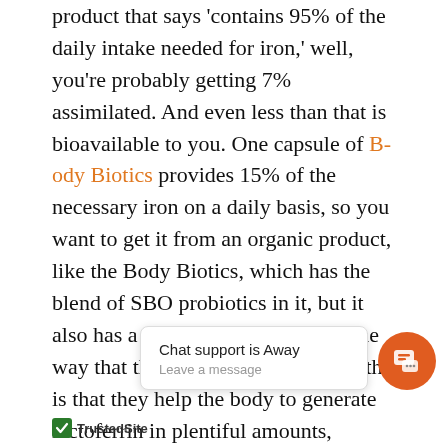product that says 'contains 95% of the daily intake needed for iron,' well, you're probably getting 7% assimilated. And even less than that is bioavailable to you. One capsule of Body Biotics provides 15% of the necessary iron on a daily basis, so you want to get it from an organic product, like the Body Biotics, which has the blend of SBO probiotics in it, but it also has a humic and fulvic acid. The way that these probiotics work together is that they help the body to generate lactoferrin in plentiful amounts, thereby setting up the body to assimilate any iron that comes into your body, that's of an organic nature, sequestering that iron, and holding it in reserve, only to be delivered to the proper receptors and the proper organs in the body that need it, and sheltering it away from the pathogens, yeasts, fungus, and ... ou deadl ...
[Figure (other): Chat support widget showing 'Chat support is Away' and 'Leave a message' with an orange chat icon button]
[Figure (logo): TrustedSite badge with green checkmark logo]